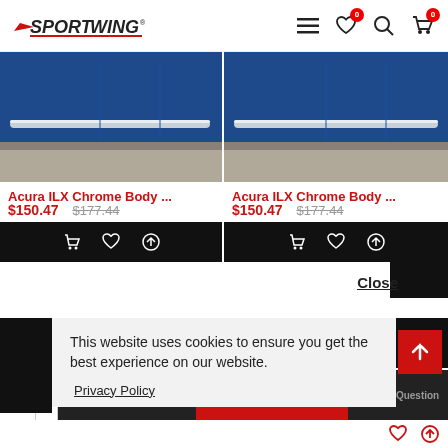SPORTWING
[Figure (photo): Blue car door with chrome body side molding strip, left product]
Acura ILX Chrome Body ...
$150.47  $177.44
[Figure (photo): Blue car door with chrome body side molding strip, right product]
Acura ILX Chrome Body ...
$150.47  $177.44
Close
This website uses cookies to ensure you get the best experience on our website.
Privacy Policy
ADD TO CART
BUY NOW
Ask Question